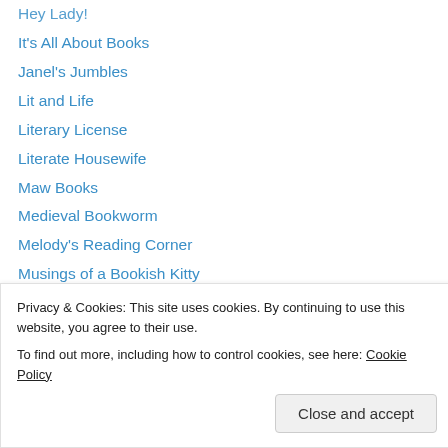Hey Lady!
It's All About Books
Janel's Jumbles
Lit and Life
Literary License
Literate Housewife
Maw Books
Medieval Bookworm
Melody's Reading Corner
Musings of a Bookish Kitty
My Friend Amy
Peeking Between the Pages
Planet Books
Pop Culture Junkie
Privacy & Cookies: This site uses cookies. By continuing to use this website, you agree to their use.
To find out more, including how to control cookies, see here: Cookie Policy
Close and accept